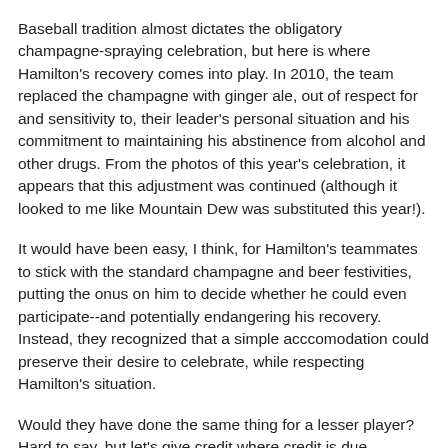Baseball tradition almost dictates the obligatory champagne-spraying celebration, but here is where Hamilton's recovery comes into play. In 2010, the team replaced the champagne with ginger ale, out of respect for and sensitivity to, their leader's personal situation and his commitment to maintaining his abstinence from alcohol and other drugs. From the photos of this year's celebration, it appears that this adjustment was continued (although it looked to me like Mountain Dew was substituted this year!).
It would have been easy, I think, for Hamilton's teammates to stick with the standard champagne and beer festivities, putting the onus on him to decide whether he could even participate--and potentially endangering his recovery. Instead, they recognized that a simple acccomodation could preserve their desire to celebrate, while respecting Hamilton's situation.
Would they have done the same thing for a lesser player? Hard to say, but let's give credit where credit is due.
Now, how do we as individuals support support those in our lives who